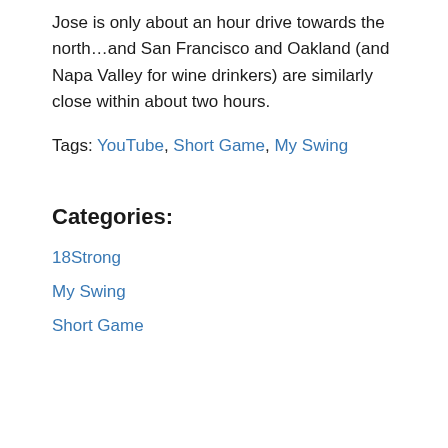Jose is only about an hour drive towards the north…and San Francisco and Oakland (and Napa Valley for wine drinkers) are similarly close within about two hours.
Tags: YouTube, Short Game, My Swing
Categories:
18Strong
My Swing
Short Game